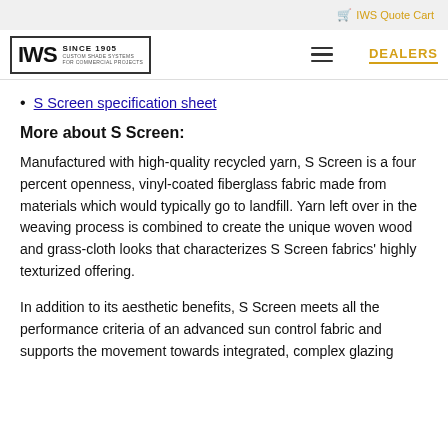IWS Quote Cart
[Figure (logo): IWS logo with text SINCE 1905, CUSTOM SHADE SYSTEMS FOR COMMERCIAL PROJECTS]
S Screen specification sheet
More about S Screen:
Manufactured with high-quality recycled yarn, S Screen is a four percent openness, vinyl-coated fiberglass fabric made from materials which would typically go to landfill. Yarn left over in the weaving process is combined to create the unique woven wood and grass-cloth looks that characterizes S Screen fabrics' highly texturized offering.
In addition to its aesthetic benefits, S Screen meets all the performance criteria of an advanced sun control fabric and supports the movement towards integrated, complex glazing